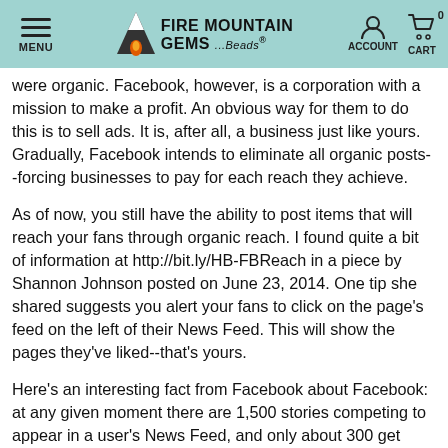MENU | FIRE MOUNTAIN GEMS ...Beads® | ACCOUNT | CART 0
were organic. Facebook, however, is a corporation with a mission to make a profit. An obvious way for them to do this is to sell ads. It is, after all, a business just like yours. Gradually, Facebook intends to eliminate all organic posts--forcing businesses to pay for each reach they achieve.
As of now, you still have the ability to post items that will reach your fans through organic reach. I found quite a bit of information at http://bit.ly/HB-FBReach in a piece by Shannon Johnson posted on June 23, 2014. One tip she shared suggests you alert your fans to click on the page's feed on the left of their News Feed. This will show the pages they've liked--that's yours.
Here's an interesting fact from Facebook about Facebook: at any given moment there are 1,500 stories competing to appear in a user's News Feed, and only about 300 get seen by the user. Incoming posts are evaluated by the Facebook algorithms, and the only posts that appear are the ones judged to be the most relevant, interesting, and with the most original content.